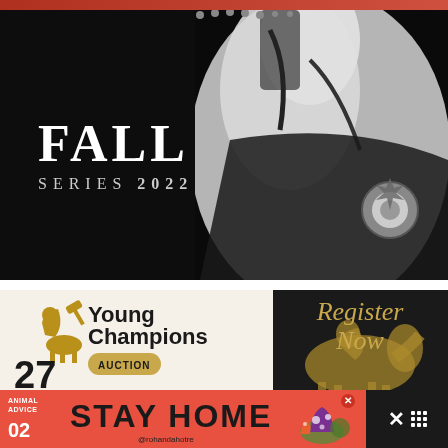[Figure (photo): Black and white photograph of a grey horse wearing bridle and decorative medallion, against a dark background, with large white serif text 'FALL' and smaller tracking text 'SERIES 2022' overlaid on the left side]
[Figure (photo): Young Champions Auction promotional banner with beige/cream background on left showing rider silhouette icon and text 'Young Champions AUCTION', and dark right panel with gold cursive 'Register Now' text. Number '27' visible at lower left. Golden horse and rider silhouette in center.]
[Figure (infographic): Red/coral banner advertisement reading 'ANIMAL ADVICE 02 STAY HOME' with mushroom/nature graphic, a close button, and a dark right panel with X and grid icon. Handle '@rohandahotre' visible.]